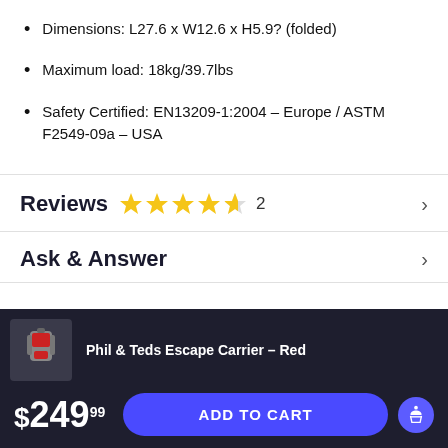Dimensions: L27.6 x W12.6 x H5.9? (folded)
Maximum load: 18kg/39.7lbs
Safety Certified: EN13209-1:2004 – Europe / ASTM F2549-09a – USA
Reviews
Ask & Answer
Phil & Teds Escape Carrier – Red
$249.99
ADD TO CART